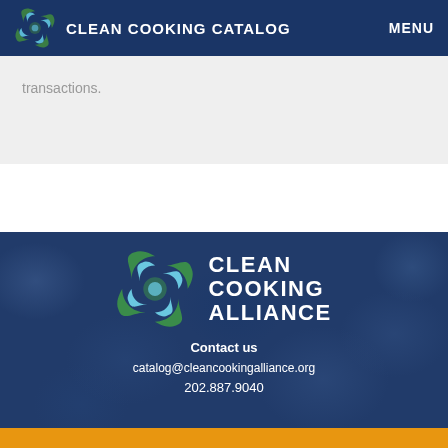CLEAN COOKING CATALOG   MENU
transactions.
[Figure (logo): Clean Cooking Alliance logo with circular leaf and water droplet motif, with text CLEAN COOKING ALLIANCE]
Contact us
catalog@cleancookingalliance.org
202.887.9040